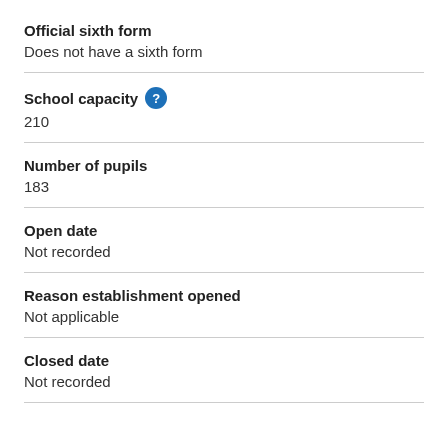Official sixth form
Does not have a sixth form
School capacity
210
Number of pupils
183
Open date
Not recorded
Reason establishment opened
Not applicable
Closed date
Not recorded